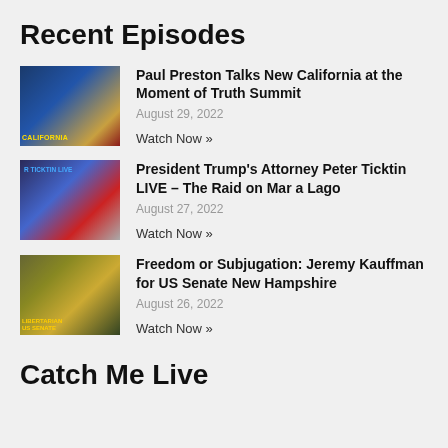Recent Episodes
Paul Preston Talks New California at the Moment of Truth Summit
August 29, 2022
Watch Now »
President Trump's Attorney Peter Ticktin LIVE – The Raid on Mar a Lago
August 27, 2022
Watch Now »
Freedom or Subjugation: Jeremy Kauffman for US Senate New Hampshire
August 26, 2022
Watch Now »
Catch Me Live